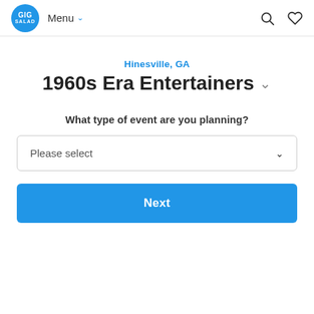GIG SALAD  Menu  [search icon] [heart icon]
Hinesville, GA
1960s Era Entertainers
What type of event are you planning?
Please select
Next